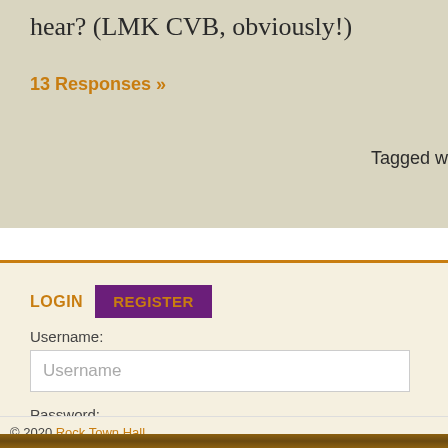hear? (LMK CVB, obviously!)
13 Responses »
Tagged w
LOGIN   REGISTER
Username:
Username
Password:
Password
LOGIN →
© 2020 Rock Town Hall